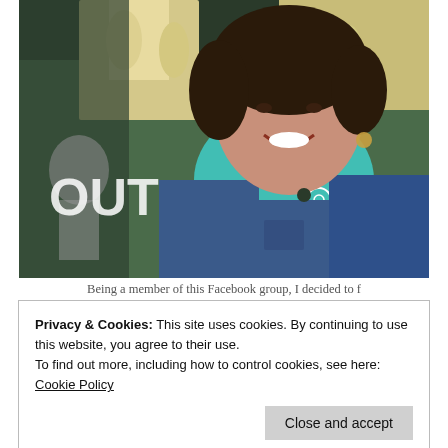[Figure (photo): A smiling middle-aged woman wearing a denim jacket and a teal/turquoise floral scarf, standing in front of a store window display showing mannequins with gloves. Partial text 'OUT' visible on the window. A reflection of another person is visible in the background.]
Being a member of this Facebook group, I decided to f...
Privacy & Cookies: This site uses cookies. By continuing to use this website, you agree to their use.
To find out more, including how to control cookies, see here: Cookie Policy
Close and accept
not agreeing with you is wrong.  I once wrote a whole